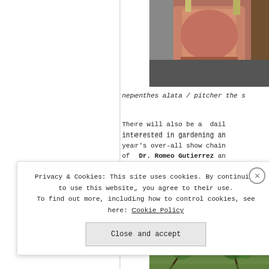[Figure (photo): Photo of a terracotta/red plant pot with foliage visible, top portion of the page on the right column]
nepenthes alata / pitcher the s
There will also be a  dail interested in gardening an year's over-all show chain of  Dr. Romeo Gutierrez an Bernabe or more popularly by almost all people in th
Privacy & Cookies: This site uses cookies. By continuing to use this website, you agree to their use. To find out more, including how to control cookies, see here: Cookie Policy
Close and accept
[Figure (photo): Photo of trees with dense green foliage, bottom portion of the right column]